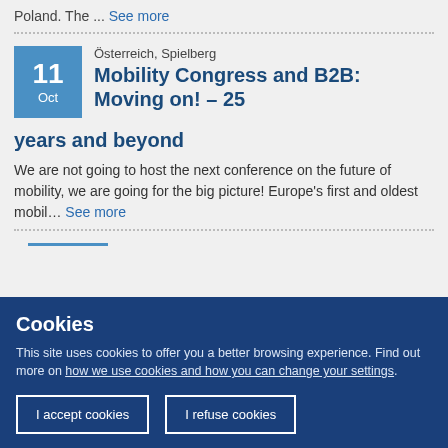Poland. The ... See more
Österreich, Spielberg
Mobility Congress and B2B: Moving on! – 25 years and beyond
We are not going to host the next conference on the future of mobility, we are going for the big picture! Europe's first and oldest mobil... See more
Cookies
This site uses cookies to offer you a better browsing experience. Find out more on how we use cookies and how you can change your settings.